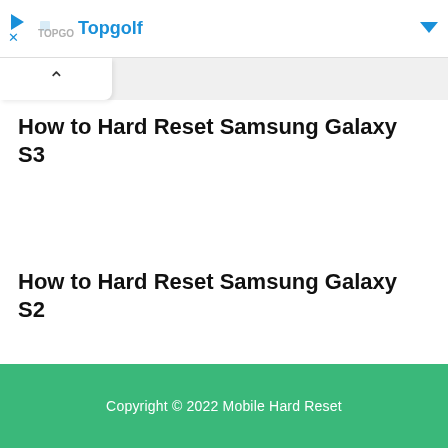Topgolf
How to Hard Reset Samsung Galaxy S3
How to Hard Reset Samsung Galaxy S2
Copyright © 2022 Mobile Hard Reset